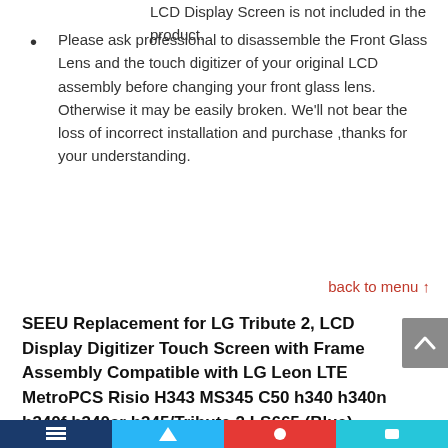LCD Display Screen is not included in the product.
Please ask professional to disassemble the Front Glass Lens and the touch digitizer of your original LCD assembly before changing your front glass lens. Otherwise it may be easily broken. We'll not bear the loss of incorrect installation and purchase ,thanks for your understanding.
back to menu ↑
SEEU Replacement for LG Tribute 2, LCD Display Digitizer Touch Screen with Frame Assembly Compatible with LG Leon LTE MetroPCS Risio H343 MS345 C50 h340 h340n h340f h340ar h345/Tribute 2 LS665 (Blue)